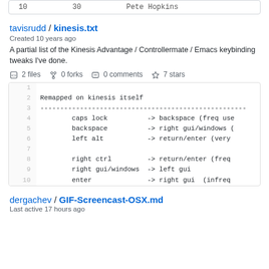| 10 | 30 | Pete Hopkins |
tavisrudd / kinesis.txt
Created 10 years ago
A partial list of the Kinesis Advantage / Controllermate / Emacs keybinding tweaks I've done.
2 files   0 forks   0 comments   7 stars
[Figure (screenshot): Code block showing kinesis keybinding remapping lines 1-10]
dergachev / GIF-Screencast-OSX.md
Last active 17 hours ago